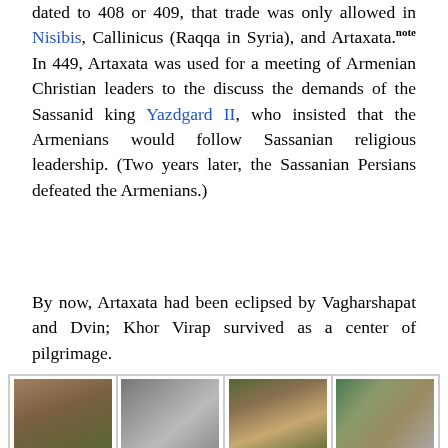dated to 408 or 409, that trade was only allowed in Nisibis, Callinicus (Raqqa in Syria), and Artaxata.[note] In 449, Artaxata was used for a meeting of Armenian Christian leaders to the discuss the demands of the Sassanid king Yazdgard II, who insisted that the Armenians would follow Sassanian religious leadership. (Two years later, the Sassanian Persians defeated the Armenians.)
By now, Artaxata had been eclipsed by Vagharshapat and Dvin; Khor Virap survived as a center of pilgrimage.
[Figure (photo): Four archaeological photos from Artaxata showing ancient artifacts and ruins. Top row: Column base, Mill stone, Storage jar, Column fragments. Bottom row: (partial) four landscape/site photos.]
Artaxata, Column base
Artaxata, Mill
Artaxata, Storage jar
Artaxata, Column fragments